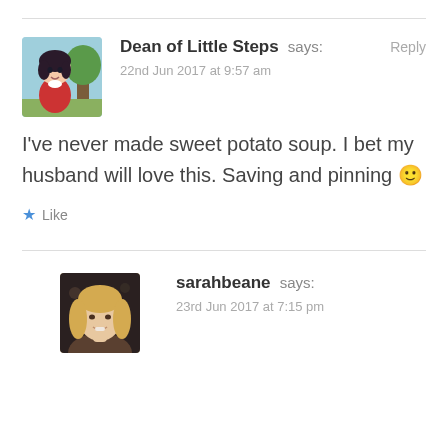[Figure (illustration): Avatar illustration of a young girl in a red coat with dark hair, cartoon style, against a blue-green background]
Dean of Little Steps says:
22nd Jun 2017 at 9:57 am
Reply
I've never made sweet potato soup. I bet my husband will love this. Saving and pinning 🙂
Like
[Figure (photo): Avatar photo of a blonde woman smiling, dark background]
sarahbeane says:
23rd Jun 2017 at 7:15 pm